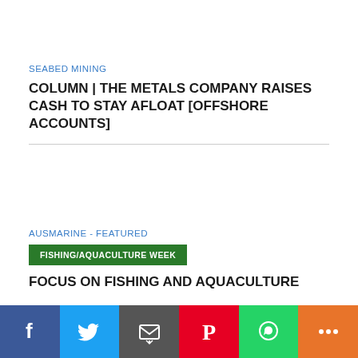SEABED MINING
COLUMN | THE METALS COMPANY RAISES CASH TO STAY AFLOAT [OFFSHORE ACCOUNTS]
AUSMARINE - FEATURED
FISHING/AQUACULTURE WEEK
FOCUS ON FISHING AND AQUACULTURE
[Figure (infographic): Social sharing bar with Facebook, Twitter, Email, Pinterest, WhatsApp, and More buttons]